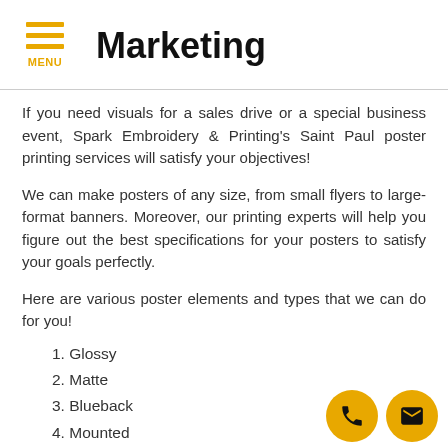Marketing
If you need visuals for a sales drive or a special business event, Spark Embroidery & Printing's Saint Paul poster printing services will satisfy your objectives!
We can make posters of any size, from small flyers to large-format banners. Moreover, our printing experts will help you figure out the best specifications for your posters to satisfy your goals perfectly.
Here are various poster elements and types that we can do for you!
1. Glossy
2. Matte
3. Blueback
4. Mounted